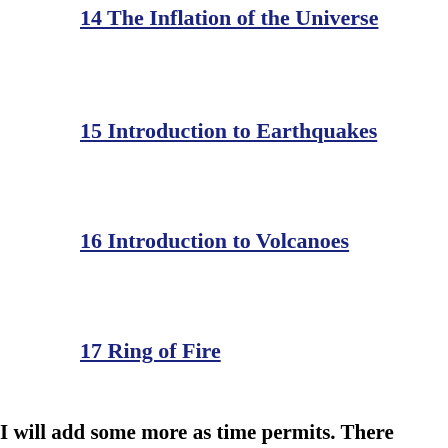14 The Inflation of the Universe
15 Introduction to Earthquakes
16 Introduction to Volcanoes
17 Ring of Fire
I will add some more as time permits. There are many projects that keep me busy. At least I’m busy about the Lord’s work.
How about You???...
You can also type the following words in an Internet Search Section and/or in the Image